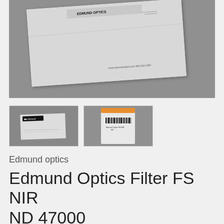[Figure (photo): Main product photo showing an Edmund Optics filter/paper document on a gray background surface]
[Figure (photo): Thumbnail 1: Edmund Optics filter card on gray surface]
[Figure (photo): Thumbnail 2: Edmund Optics filter in a small bag with orange tag and barcode]
Edmund optics
Edmund Optics Filter FS NIR ND 47000